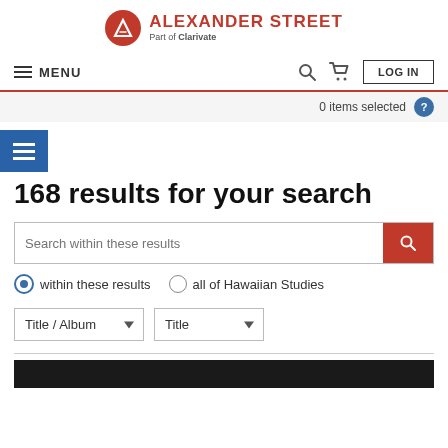[Figure (logo): Alexander Street logo — red circle with A, text 'ALEXANDER STREET Part of Clarivate']
≡ MENU  🔍  🛒  LOG IN
0 items selected  ?
≡
168 results for your search
Search within these results
within these results   all of Hawaiian Studies
Title / Album ▼   Title ▼